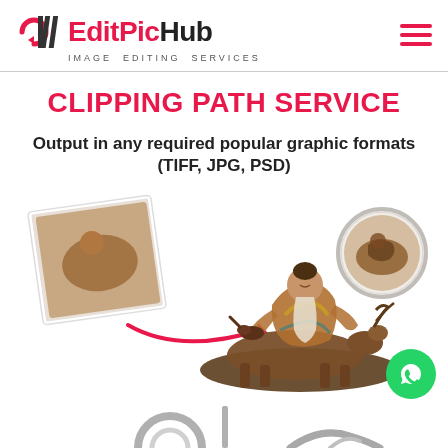[Figure (logo): EditPicHub logo with pink/red icon on the left and brand name, subtitle 'Image Editing Services']
CLIPPING PATH SERVICE
Output in any required popular graphic formats (TIFF, JPG, PSD)
[Figure (photo): Clipping path service demonstration: a wooden carved figurine of an elderly sage riding a deer, shown before and after clipping path removal, with a magnifying circle showing detail]
[Figure (photo): Partially visible jewelry/metal objects at the bottom of the page]